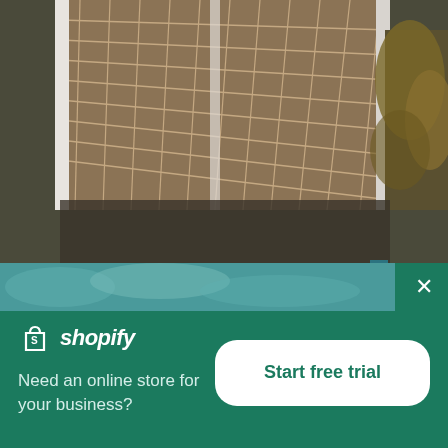[Figure (photo): Close-up photo of a metal mesh/grid bridge walkway with white railings, looking down at the grid pattern. In the background there are blurred autumn-colored plants/foliage.]
Person Looks Back While Walking On A Bridge
High resolution download ↓
[Figure (photo): Partial view of a blue sky with clouds, partially obscured by the Shopify popup overlay.]
× (close button)
[Figure (logo): Shopify logo: white shopping bag icon with 'S' followed by italic text 'shopify' in white]
Need an online store for your business?
Start free trial